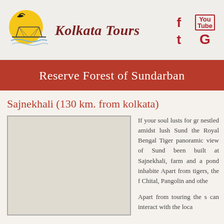Kolkata Tours
Reserve Forest of Sundarban
Sajnekhali (130 km. from kolkata)
[Figure (photo): Photo placeholder of Sajnekhali area]
If your soul lusts for gr... nestled amidst lush Sund... the Royal Bengal Tiger... panoramic view of Sund... been built at Sajnekhali, farm and a pond inhabite... Apart from tigers, the f... Chital, Pangolin and othe...
Apart from touring the s... can interact with the loca...